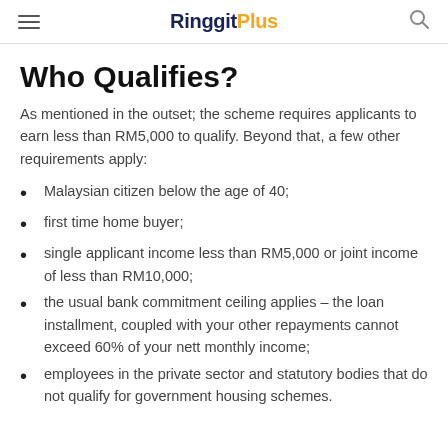RinggitPlus
Who Qualifies?
As mentioned in the outset; the scheme requires applicants to earn less than RM5,000 to qualify. Beyond that, a few other requirements apply:
Malaysian citizen below the age of 40;
first time home buyer;
single applicant income less than RM5,000 or joint income of less than RM10,000;
the usual bank commitment ceiling applies – the loan installment, coupled with your other repayments cannot exceed 60% of your nett monthly income;
employees in the private sector and statutory bodies that do not qualify for government housing schemes.